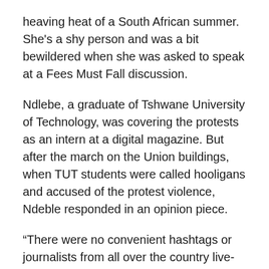heaving heat of a South African summer. She's a shy person and was a bit bewildered when she was asked to speak at a Fees Must Fall discussion.
Ndlebe, a graduate of Tshwane University of Technology, was covering the protests as an intern at a digital magazine. But after the march on the Union buildings, when TUT students were called hooligans and accused of the protest violence, Ndeble responded in an opinion piece.
“There were no convenient hashtags or journalists from all over the country live-tweeting from our campus about our struggles,” she wrote. “Are we not important enough in the government’s eyes to be heard on our own without support from Wits, Stellenbosch and UCT?”